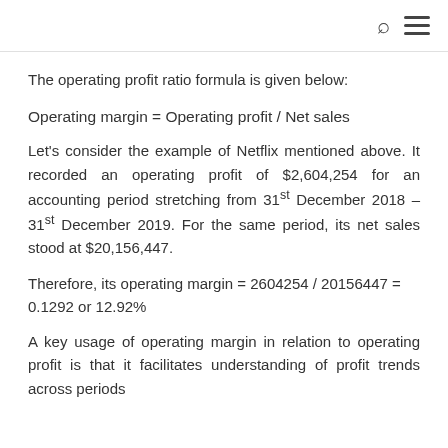The operating profit ratio formula is given below:
Let's consider the example of Netflix mentioned above. It recorded an operating profit of $2,604,254 for an accounting period stretching from 31st December 2018 – 31st December 2019. For the same period, its net sales stood at $20,156,447.
Therefore, its operating margin = 2604254 / 20156447 = 0.1292 or 12.92%
A key usage of operating margin in relation to operating profit is that it facilitates understanding of profit trends across periods